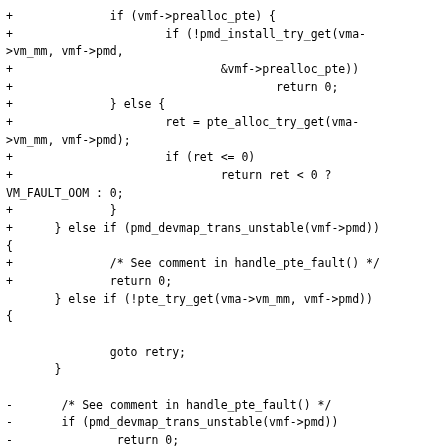Code diff showing Linux kernel memory fault handling code changes involving vmf->prealloc_pte, pmd_install_try_get, pte_alloc_try_get, pmd_devmap_trans_unstable, pte_try_get, and pte_offset_map_lock functions.